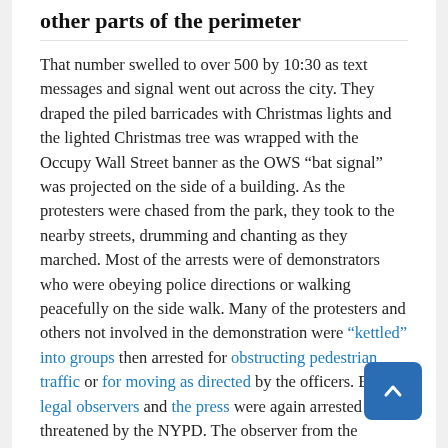other parts of the perimeter
That number swelled to over 500 by 10:30 as text messages and signal went out across the city. They draped the piled barricades with Christmas lights and the lighted Christmas tree was wrapped with the Occupy Wall Street banner as the OWS “bat signal” was projected on the side of a building. As the protesters were chased from the park, they took to the nearby streets, drumming and chanting as they marched. Most of the arrests were of demonstrators who were obeying police directions or walking peacefully on the side walk. Many of the protesters and others not involved in the demonstration were “kettled” into groups then arrested for obstructing pedestrian traffic or for moving as directed by the officers. Even legal observers and the press were again arrested and threatened by the NYPD. The observer from the National Lawyers Guild was released.